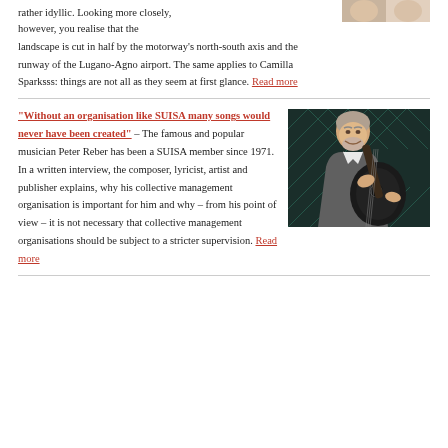rather idyllic. Looking more closely, however, you realise that the landscape is cut in half by the motorway's north-south axis and the runway of the Lugano-Agno airport. The same applies to Camilla Sparksss: things are not all as they seem at first glance. Read more
[Figure (photo): Partial photo of person visible at top right corner]
"Without an organisation like SUISA many songs would never have been created" – The famous and popular musician Peter Reber has been a SUISA member since 1971. In a written interview, the composer, lyricist, artist and publisher explains, why his collective management organisation is important for him and why – from his point of view – it is not necessary that collective management organisations should be subject to a stricter supervision. Read more
[Figure (photo): Photo of Peter Reber, a man with grey hair and beard smiling, playing a black acoustic guitar, wearing a grey vest, dark background with diamond pattern]